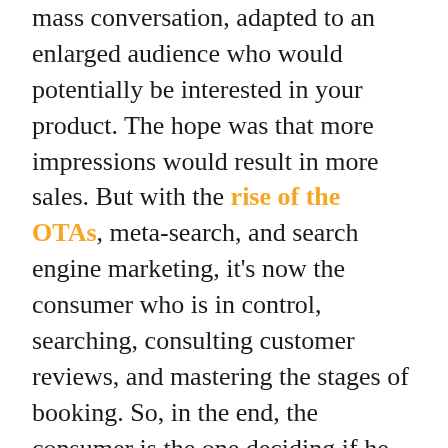mass conversation, adapted to an enlarged audience who would potentially be interested in your product. The hope was that more impressions would result in more sales. But with the rise of the OTAs, meta-search, and search engine marketing, it's now the consumer who is in control, searching, consulting customer reviews, and mastering the stages of booking. So, in the end, the consumer is the one deciding if he or she books with you directly or not. To illustrate this, Celine introduced Sojern's Path to Purchase report published last year. In this report, Sojern offered a look at eight paths to purchase using real traveler data, spanning verticals, regions, and trip motivations. What emerged was a greater